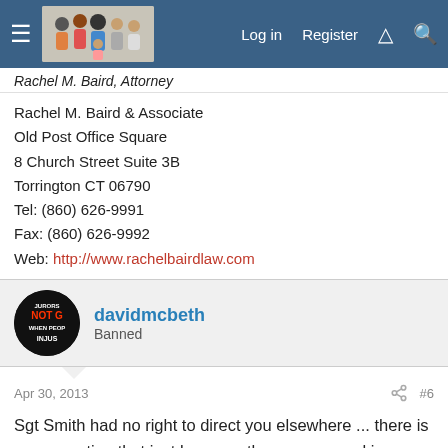Log in  Register
Rachel M. Baird, Attorney
Rachel M. Baird & Associate
Old Post Office Square
8 Church Street Suite 3B
Torrington CT 06790
Tel: (860) 626-9991
Fax: (860) 626-9992
Web: http://www.rachelbairdlaw.com
davidmcbeth
Banned
Apr 30, 2013  #6
Sgt Smith had no right to direct you elsewhere ... there is no exemption that just because the same record is elsewhere that you have to go elsewhere to get it.